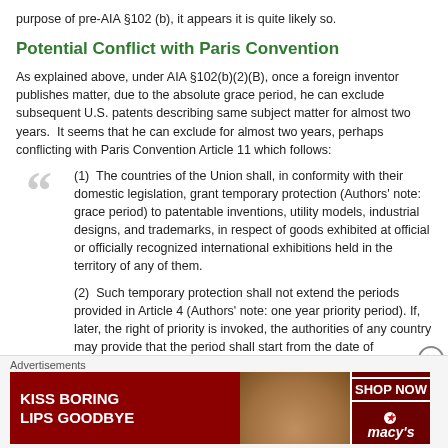purpose of pre-AIA §102 (b), it appears it is quite likely so.
Potential Conflict with Paris Convention
As explained above, under AIA §102(b)(2)(B), once a foreign inventor publishes matter, due to the absolute grace period, he can exclude subsequent U.S. patents describing same subject matter for almost two years. It seems that he can exclude for almost two years, perhaps conflicting with Paris Convention Article 11 which follows:
(1) The countries of the Union shall, in conformity with their domestic legislation, grant temporary protection (Authors' note: grace period) to patentable inventions, utility models, industrial designs, and trademarks, in respect of goods exhibited at official or officially recognized international exhibitions held in the territory of any of them.
(2) Such temporary protection shall not extend the periods provided in Article 4 (Authors' note: one year priority period). If, later, the right of priority is invoked, the authorities of any country may provide that the period shall start from the date of introduction of the goods into the exhibition.
[Figure (photo): Macy's advertisement banner: 'KISS BORING LIPS GOODBYE' with SHOP NOW button and Macy's logo, featuring a woman's face.]